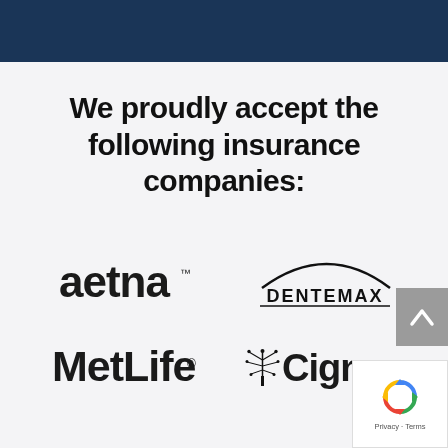We proudly accept the following insurance companies:
[Figure (logo): Aetna logo in bold dark sans-serif lowercase letters]
[Figure (logo): Dentemax logo with curved arc above the text, underlined]
[Figure (logo): MetLife logo in bold serif/sans font]
[Figure (logo): Cigna logo with tree/sunburst icon and Cigna wordmark]